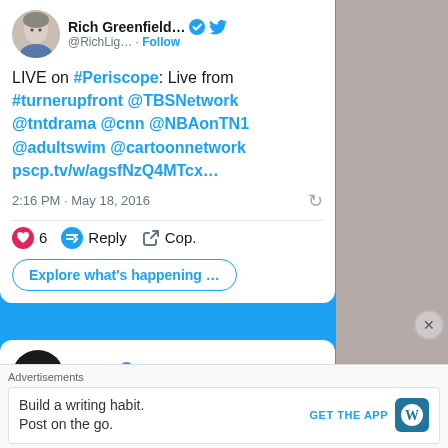[Figure (screenshot): Screenshot of a Twitter/X webpage showing two tweet cards and an advertisement banner. First tweet by Rich Greenfield (@RichLig...) with a verified badge, posting about being LIVE on #Periscope from #turnerupfront with links to @TBSNetwork @tntdrama @cnn @NBAonTN1 @adultswim @cartoonnetwork and a pscp.tv URL, dated 2:16 PM May 18 2016, with 6 likes, Reply and Copy actions, and an Explore what's happening button. Second tweet by Turner (@Turner) with verified badge. Bottom advertisement for WordPress: 'Build a writing habit. Post on the go.' with GET THE APP button and WordPress icon. Right side shows a gray advertisement column.]